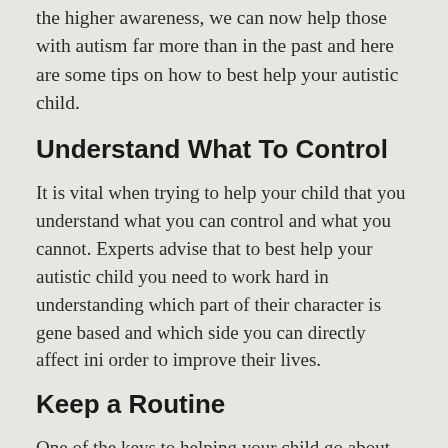the higher awareness, we can now help those with autism far more than in the past and here are some tips on how to best help your autistic child.
Understand What To Control
It is vital when trying to help your child that you understand what you can control and what you cannot. Experts advise that to best help your autistic child you need to work hard in understanding which part of their character is gene based and which side you can directly affect ini order to improve their lives.
Keep a Routine
One of the keys to helping your child go about their daily lives with minimal stress is to create and consistently follow a routine. Whether it be taking a bath each night at 7, reading a particular story before